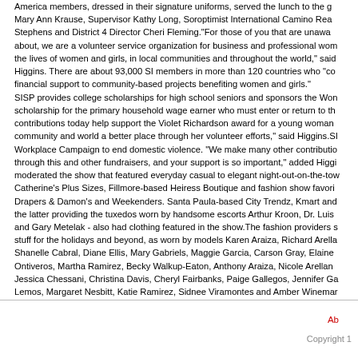America members, dressed in their signature uniforms, served the lunch to the guests. Mary Ann Krause, Supervisor Kathy Long, Soroptimist International Camino Real Stephens and District 4 Director Cheri Fleming."For those of you that are unaware about, we are a volunteer service organization for business and professional women, improving the lives of women and girls, in local communities and throughout the world," said Higgins. There are about 93,000 SI members in more than 120 countries who "contribute financial support to community-based projects benefiting women and girls." SISP provides college scholarships for high school seniors and sponsors the Women scholarship for the primary household wage earner who must enter or return to the workplace. contributions today help support the Violet Richardson award for a young woman who makes her community and world a better place through her volunteer efforts," said Higgins.SI also runs a Workplace Campaign to end domestic violence. "We make many other contributions to our community through this and other fundraisers, and your support is so important," added Higgins. moderated the show that featured everyday casual to elegant night-out-on-the-town clothing from Catherine's Plus Sizes, Fillmore-based Heiress Boutique and fashion show favorites Drapers & Damon's and Weekenders. Santa Paula-based City Trendz, Kmart and the latter providing the tuxedos worn by handsome escorts Arthur Kroon, Dr. Luis and Gary Metelak - also had clothing featured in the show.The fashion providers showed stuff for the holidays and beyond, as worn by models Karen Araiza, Richard Arellano, Shanelle Cabral, Diane Ellis, Mary Gabriels, Maggie Garcia, Carson Gray, Elaine Ontiveros, Martha Ramirez, Becky Walkup-Eaton, Anthony Araiza, Nicole Arellano, Jessica Chessani, Christina Davis, Cheryl Fairbanks, Paige Gallegos, Jennifer Garcia, Lemos, Margaret Nesbitt, Katie Ramirez, Sidnee Viramontes and Amber Wineman
About | Copyright 1